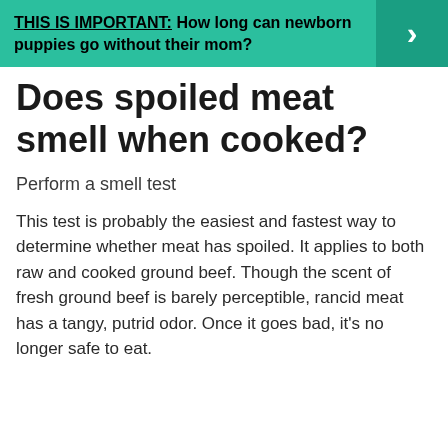[Figure (infographic): Teal/green banner with bold text: 'THIS IS IMPORTANT: How long can newborn puppies go without their mom?' with a darker teal arrow button on the right.]
Does spoiled meat smell when cooked?
Perform a smell test
This test is probably the easiest and fastest way to determine whether meat has spoiled. It applies to both raw and cooked ground beef. Though the scent of fresh ground beef is barely perceptible, rancid meat has a tangy, putrid odor. Once it goes bad, it’s no longer safe to eat.